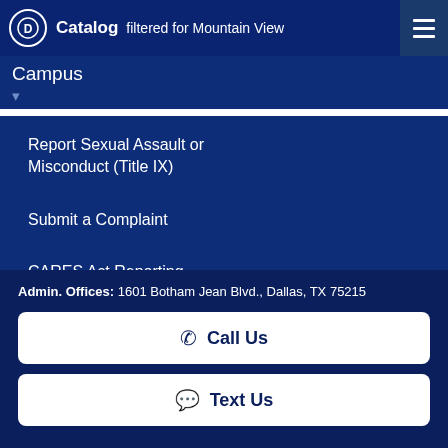Catalog filtered for Mountain View Campus
Campus
Report Sexual Assault or Misconduct (Title IX)
Submit a Complaint
CARES Act Reporting
Admin. Offices: 1601 Botham Jean Blvd., Dallas, TX 75215
Call Us
Text Us